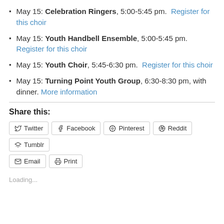May 15: Celebration Ringers, 5:00-5:45 pm.  Register for this choir
May 15: Youth Handbell Ensemble, 5:00-5:45 pm.  Register for this choir
May 15: Youth Choir, 5:45-6:30 pm.  Register for this choir
May 15: Turning Point Youth Group, 6:30-8:30 pm, with dinner. More information
Share this:
Twitter Facebook Pinterest Reddit Tumblr Email Print
Loading...